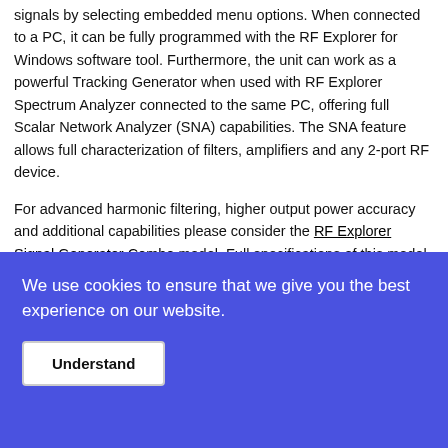signals by selecting embedded menu options. When connected to a PC, it can be fully programmed with the RF Explorer for Windows software tool. Furthermore, the unit can work as a powerful Tracking Generator when used with RF Explorer Spectrum Analyzer connected to the same PC, offering full Scalar Network Analyzer (SNA) capabilities. The SNA feature allows full characterization of filters, amplifiers and any 2-port RF device.
For advanced harmonic filtering, higher output power accuracy and additional capabilities please consider the RF Explorer Signal Generator Combo model. Full specifications of this model in this link. An expansion board is available to easily upgrade baseline Signal Generator RFE6GEN into a Combo model.
For full specifications please see Specifications and Datasheet...
We use cookies to ensure that we give you the best experience on our website.
Understand